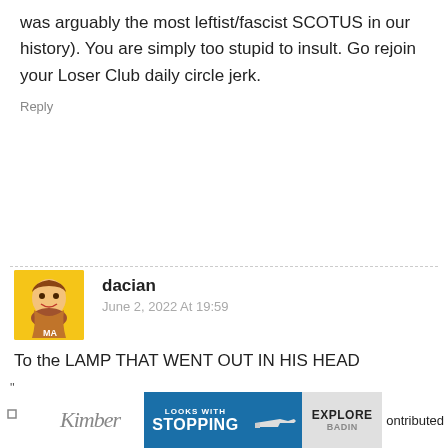was arguably the most leftist/fascist SCOTUS in our history). You are simply too stupid to insult. Go rejoin your Loser Club daily circle jerk.
Reply
dacian
June 2, 2022 At 19:59
To the LAMP THAT WENT OUT IN HIS HEAD
Five members of Beverly Enterprises' board of directors had ties to Governor Reagan; the chairman was vice chairman of a Reagan fundraising dinner, and "four others were either politically active in one or both of the Reagan
[Figure (other): Advertisement banner for Kimber firearms showing logo, 'LOOKS WITH STOPPING' text, gun image, and 'EXPLORE' text, partially cut off with 'ontributed' text visible]